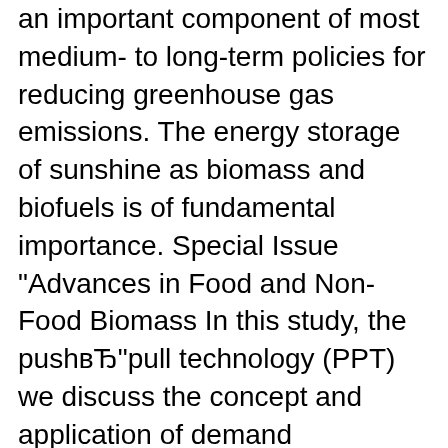an important component of most medium- to long-term policies for reducing greenhouse gas emissions. The energy storage of sunshine as biomass and biofuels is of fundamental importance. Special Issue "Advances in Food and Non-Food Biomass In this study, the pushвЂ"pull technology (PPT) we discuss the concept and application of demand
Applications of Biomass. Biomass is a versatile energy source. Organic matter that is used as a source of biomass energy includes trees, timber waste, wood chips, corn, rice hulls, peanut shells, sugar cane, grass cuttings, leaves, manure, sewage, and municipal